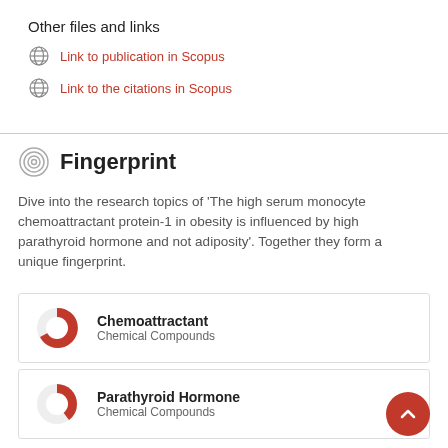Other files and links
Link to publication in Scopus
Link to the citations in Scopus
Fingerprint
Dive into the research topics of 'The high serum monocyte chemoattractant protein-1 in obesity is influenced by high parathyroid hormone and not adiposity'. Together they form a unique fingerprint.
[Figure (donut-chart): Donut chart for Chemoattractant Chemical Compounds, majority red/dark filled]
Chemoattractant
Chemical Compounds
[Figure (donut-chart): Donut chart for Parathyroid Hormone Chemical Compounds, partially filled red]
Parathyroid Hormone
Chemical Compounds